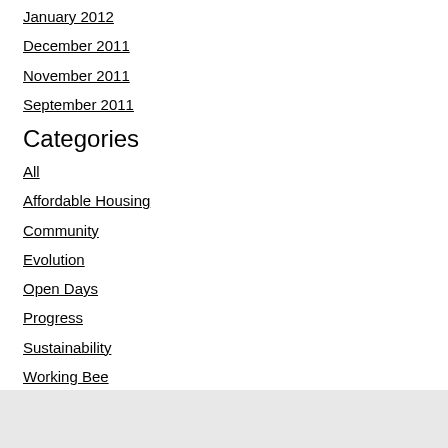January 2012
December 2011
November 2011
September 2011
Categories
All
Affordable Housing
Community
Evolution
Open Days
Progress
Sustainability
Working Bee
RSS Feed